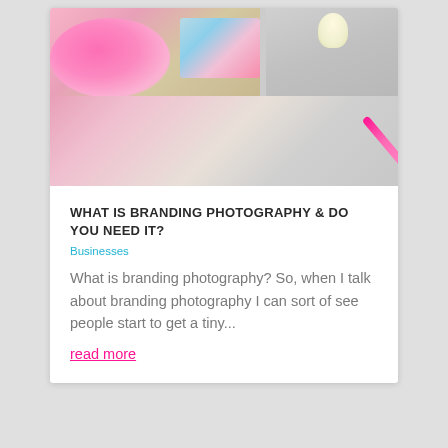[Figure (photo): Photo collage showing flamingo-themed notebook/planner with pink flowers and branding items including a MacBook with a flamingo pen]
WHAT IS BRANDING PHOTOGRAPHY & DO YOU NEED IT?
Businesses
What is branding photography? So, when I talk about branding photography I can sort of see people start to get a tiny...
read more